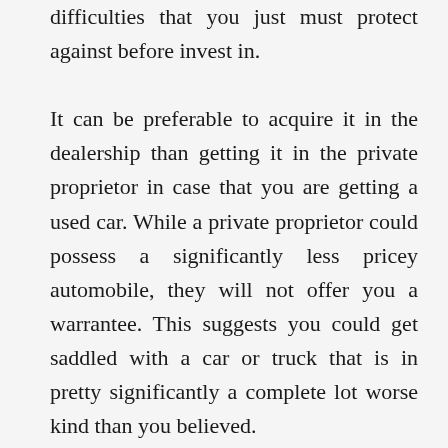difficulties that you just must protect against before invest in.

It can be preferable to acquire it in the dealership than getting it in the private proprietor in case that you are getting a used car. While a private proprietor could possess a significantly less pricey automobile, they will not offer you a warrantee. This suggests you could get saddled with a car or truck that is in pretty significantly a complete lot worse kind than you believed.